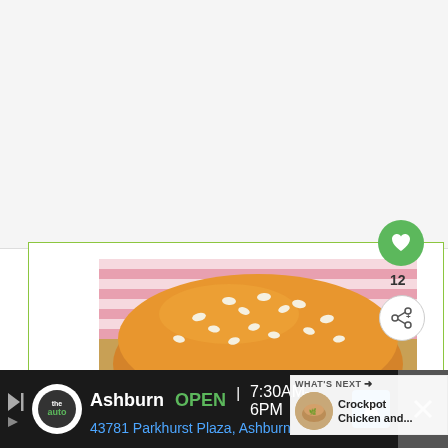[Figure (photo): Top white/light gray rectangular area representing blank content space above a recipe card]
[Figure (photo): Photo of a sesame seed hamburger bun close-up, with pink striped background, inside a recipe card with green border. Overlaid with heart/like button (green circle, count 12), share button, and 'WHAT'S NEXT' panel showing Crockpot Chicken and... recipe thumbnail.]
WHAT'S NEXT →
Crockpot Chicken and...
12
Ashburn  OPEN  7:30AM–6PM
43781 Parkhurst Plaza, Ashburn